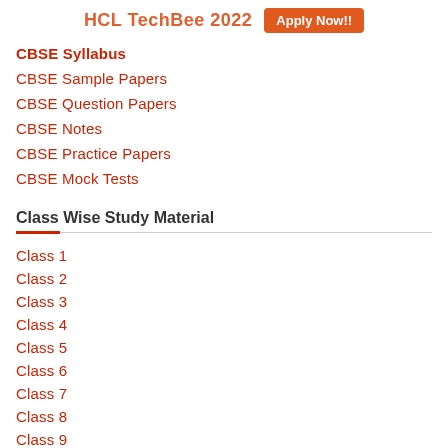HCL TechBee 2022  Apply Now!!
CBSE Syllabus
CBSE Sample Papers
CBSE Question Papers
CBSE Notes
CBSE Practice Papers
CBSE Mock Tests
Class Wise Study Material
Class 1
Class 2
Class 3
Class 4
Class 5
Class 6
Class 7
Class 8
Class 9